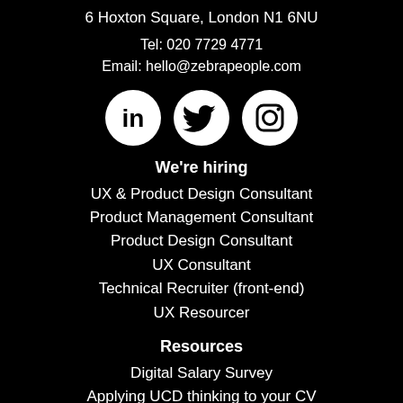6 Hoxton Square, London N1 6NU
Tel: 020 7729 4771
Email: hello@zebrapeople.com
[Figure (illustration): Three white circular social media icons on black background: LinkedIn, Twitter, Instagram]
We're hiring
UX & Product Design Consultant
Product Management Consultant
Product Design Consultant
UX Consultant
Technical Recruiter (front-end)
UX Resourcer
Resources
Digital Salary Survey
Applying UCD thinking to your CV
UX Portfolio Guidance